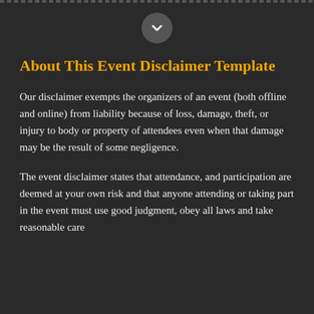[Figure (other): A circular chevron/down-arrow button icon centered at the top of the page]
About This Event Disclaimer Template
Our disclaimer exempts the organizers of an event (both offline and online) from liability because of loss, damage, theft, or injury to body or property of attendees even when that damage may be the result of some negligence.
The event disclaimer states that attendance, and participation are deemed at your own risk and that anyone attending or taking part in the event must use good judgment, obey all laws and take reasonable care